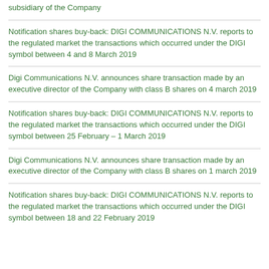subsidiary of the Company
Notification shares buy-back: DIGI COMMUNICATIONS N.V. reports to the regulated market the transactions which occurred under the DIGI symbol between 4 and 8 March 2019
Digi Communications N.V. announces share transaction made by an executive director of the Company with class B shares on 4 march 2019
Notification shares buy-back: DIGI COMMUNICATIONS N.V. reports to the regulated market the transactions which occurred under the DIGI symbol between 25 February – 1 March 2019
Digi Communications N.V. announces share transaction made by an executive director of the Company with class B shares on 1 march 2019
Notification shares buy-back: DIGI COMMUNICATIONS N.V. reports to the regulated market the transactions which occurred under the DIGI symbol between 18 and 22 February 2019